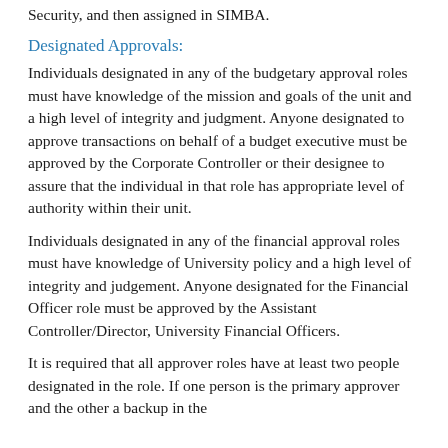Security, and then assigned in SIMBA.
Designated Approvals:
Individuals designated in any of the budgetary approval roles must have knowledge of the mission and goals of the unit and a high level of integrity and judgment. Anyone designated to approve transactions on behalf of a budget executive must be approved by the Corporate Controller or their designee to assure that the individual in that role has appropriate level of authority within their unit.
Individuals designated in any of the financial approval roles must have knowledge of University policy and a high level of integrity and judgement. Anyone designated for the Financial Officer role must be approved by the Assistant Controller/Director, University Financial Officers.
It is required that all approver roles have at least two people designated in the role. If one person is the primary approver and the other a backup in the